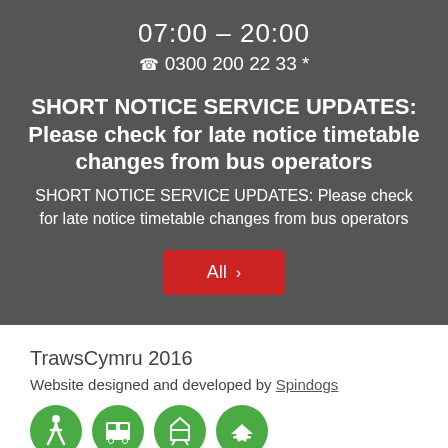07:00 – 20:00
0300 200 22 33 *
SHORT NOTICE SERVICE UPDATES: Please check for late notice timetable changes from bus operators
SHORT NOTICE SERVICE UPDATES: Please check for late notice timetable changes from bus operators
All ›
TrawsCymru 2016
Website designed and developed by Spindogs
[Figure (illustration): Four green circular icons showing transport modes: walking person, bus, train, and airplane]